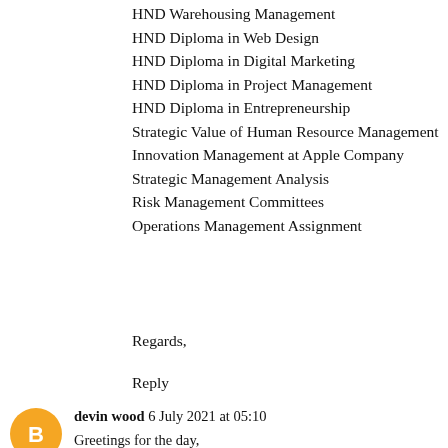HND Warehousing Management
HND Diploma in Web Design
HND Diploma in Digital Marketing
HND Diploma in Project Management
HND Diploma in Entrepreneurship
Strategic Value of Human Resource Management
Innovation Management at Apple Company
Strategic Management Analysis
Risk Management Committees
Operations Management Assignment
Regards,
Reply
devin wood 6 July 2021 at 05:10
Greetings for the day,
I am from Ozpaperhelp.com, One of the top networks of assignments and thesis would like to say that these posts are very unique and authentic. Basically, Our Institution is worked for making well-organized project reports, which